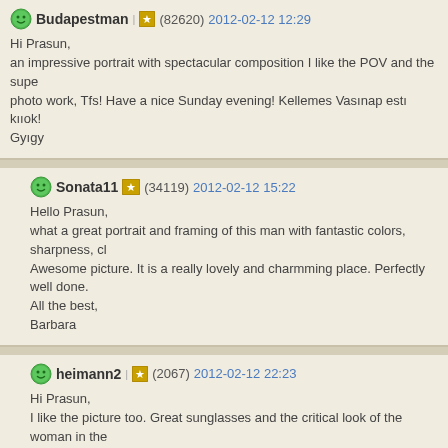Budapestman | (82620) 2012-02-12 12:29
Hi Prasun,
an impressive portrait with spectacular composition I like the POV and the supe
photo work, Tfs! Have a nice Sunday evening! Kellemes Vasárnap estű kűűok!
Gyűgy
Sonata11 (34119) 2012-02-12 15:22
Hello Prasun,
what a great portrait and framing of this man with fantastic colors, sharpness, cl
Awesome picture. It is a really lovely and charmming place. Perfectly well done.
All the best,
Barbara
heimann2 (2067) 2012-02-12 22:23
Hi Prasun,
I like the picture too. Great sunglasses and the critical look of the woman in the
Pierre
lpi (4857) 2012-02-13 8:53